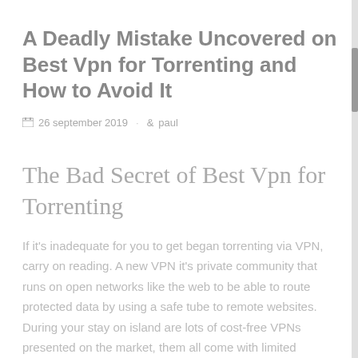A Deadly Mistake Uncovered on Best Vpn for Torrenting and How to Avoid It
26 september 2019  paul
The Bad Secret of Best Vpn for Torrenting
If it's inadequate for you to get began torrenting via VPN, carry on reading. A new VPN it's private community that runs on open networks like the web to be able to route protected data by using a safe tube to remote websites. During your stay on island are lots of cost-free VPNs presented on the market, them all come with limited